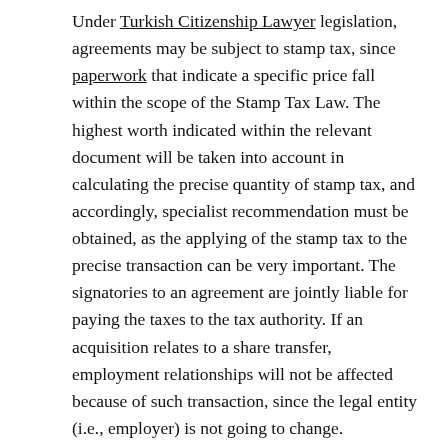Under Turkish Citizenship Lawyer legislation, agreements may be subject to stamp tax, since paperwork that indicate a specific price fall within the scope of the Stamp Tax Law. The highest worth indicated within the relevant document will be taken into account in calculating the precise quantity of stamp tax, and accordingly, specialist recommendation must be obtained, as the applying of the stamp tax to the precise transaction can be very important. The signatories to an agreement are jointly liable for paying the taxes to the tax authority. If an acquisition relates to a share transfer, employment relationships will not be affected because of such transaction, since the legal entity (i.e., employer) is not going to change. According to the Omnibus Bill, the transfer of bearer kind share certificates might be effective against the corporate and third events if the transferee notifies the CSD of the share transfer, in addition to the transfer of the share certificates'